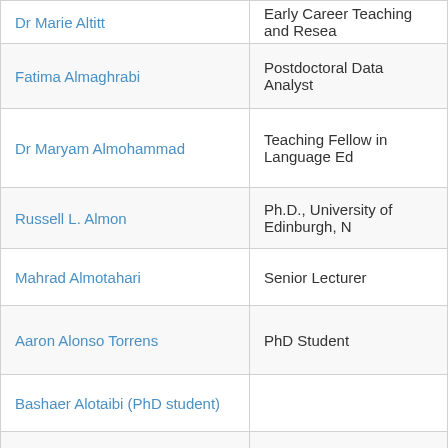| Name | Role/Description |
| --- | --- |
| Dr Marie Altitt | Early Career Teaching and Resea… |
| Fatima Almaghrabi | Postdoctoral Data Analyst |
| Dr Maryam Almohammad | Teaching Fellow in Language Ed… |
| Russell L. Almon | Ph.D., University of Edinburgh, N… |
| Mahrad Almotahari | Senior Lecturer |
| Aaron Alonso Torrens | PhD Student |
| Bashaer Alotaibi (PhD student) |  |
| Raied Alotaibi |  |
| Sara AlRabiah |  |
| Nada Alsayegh (PhD student) | Project title: The Cultural Implica… |
| Amani Alshaikh | PhD Student |